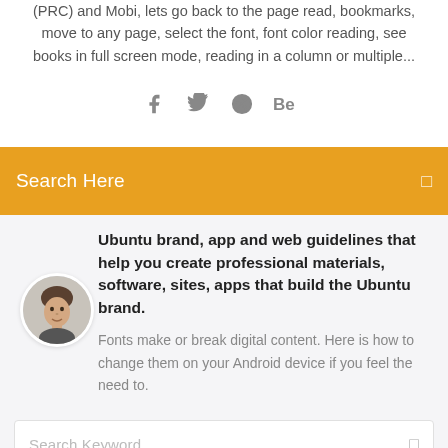(PRC) and Mobi, lets go back to the page read, bookmarks, move to any page, select the font, font color reading, see books in full screen mode, reading in a column or multiple...
[Figure (infographic): Social media icons: Facebook (f), Twitter (bird), Dribbble (circle with dots), Behance (Be)]
Search Here
Ubuntu brand, app and web guidelines that help you create professional materials, software, sites, apps that build the Ubuntu brand.
[Figure (photo): Circular avatar photo of a young man with short hair]
Fonts make or break digital content. Here is how to change them on your Android device if you feel the need to.
Search Keyword